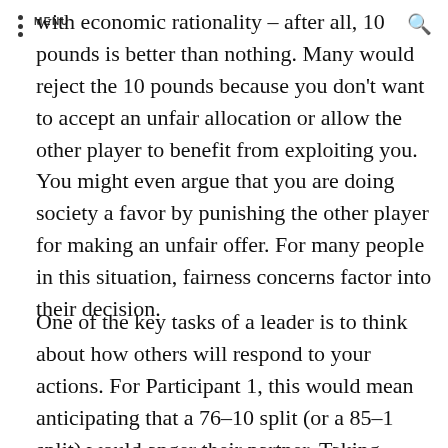MENU
with economic rationality – after all, 10 pounds is better than nothing. Many would reject the 10 pounds because you don't want to accept an unfair allocation or allow the other player to benefit from exploiting you. You might even argue that you are doing society a favor by punishing the other player for making an unfair offer. For many people in this situation, fairness concerns factor into their decision.
One of the key tasks of a leader is to think about how others will respond to your actions. For Participant 1, this would mean anticipating that a 76–10 split (or a 85–1 split) would anger their partner. Taking Participant 2's perspective should lead Participant 1 to recognize the likely role of